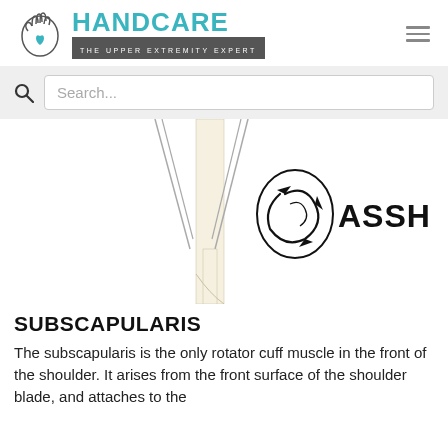HANDCARE — THE UPPER EXTREMITY EXPERT
[Figure (screenshot): Website search bar with search icon and placeholder text 'Search...']
[Figure (illustration): Anatomical illustration of shoulder/subscapularis muscle showing vertical tendon/bone structures in off-white against white background, with ASSH logo (circular arrows icon with text 'ASSH') in the lower right]
SUBSCAPULARIS
The subscapularis is the only rotator cuff muscle in the front of the shoulder. It arises from the front surface of the shoulder blade, and attaches to the